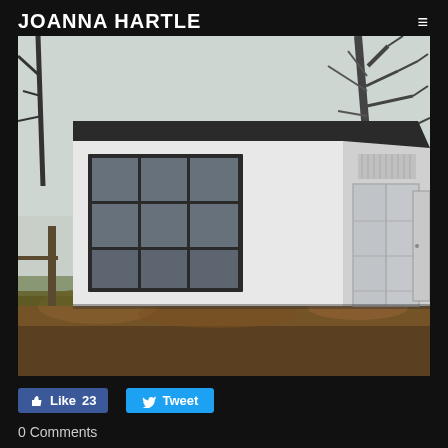JOANNA HARTLE
[Figure (photo): Exterior photo of a small white single-storey outbuilding or studio with dark-framed windows on the left side and French doors on the right, set in a garden with autumn leaves on the ground and bare trees visible in the background.]
Like 23
Tweet
0 Comments